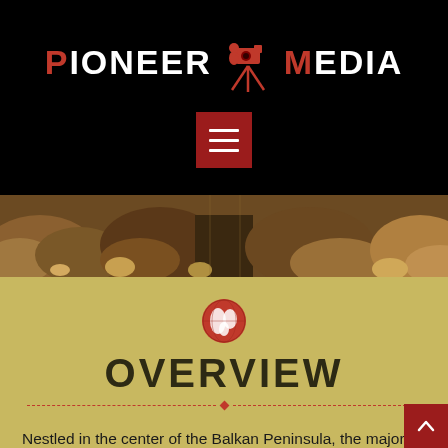[Figure (logo): Pioneer Media logo with red P and M letters, silhouette of cameraman with tripod, on black background]
[Figure (other): Hamburger/menu button — dark red square with three white horizontal lines]
[Figure (photo): Rocky canyon landscape banner photo in warm brown tones]
[Figure (other): Red circle with white globe/earth icon]
OVERVIEW
Nestled in the center of the Balkan Peninsula, the majority of the Republic of Serbia's landscape